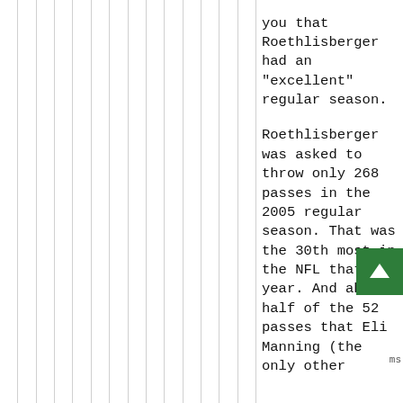you that Roethlisberger had an "excellent" regular season.

Roethlisberger was asked to throw only 268 passes in the 2005 regular season. That was the 30th most in the NFL that year. And abo[ut] half of the 52[4] passes that Eli Manning (the only other